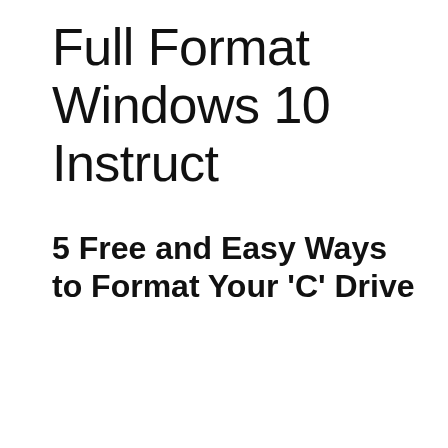Full Format Windows 10 Instruct
5 Free and Easy Ways to Format Your 'C' Drive